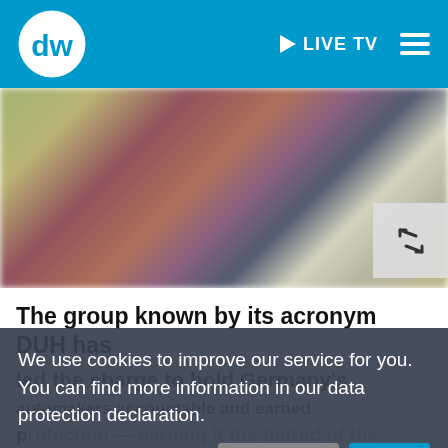[Figure (screenshot): DW (Deutsche Welle) website header with blue background, DW logo on left, LIVE TV button and hamburger menu on right]
[Figure (photo): Blurred outdoor photo of people, colorful background, with expand/fullscreen icon in bottom right corner]
The group known by its acronym DUH has led the charge to hold Germany's automakers accountable and the hatred of the auto industry and the adulation of environmentalists.
We use cookies to improve our service for you. You can find more information in our data protection declaration.
Environmental Action Germany, or Deutsche